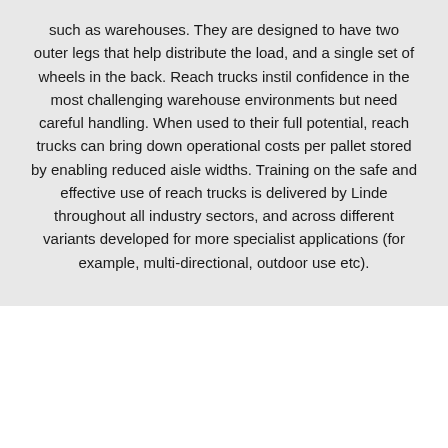such as warehouses. They are designed to have two outer legs that help distribute the load, and a single set of wheels in the back. Reach trucks instil confidence in the most challenging warehouse environments but need careful handling. When used to their full potential, reach trucks can bring down operational costs per pallet stored by enabling reduced aisle widths. Training on the safe and effective use of reach trucks is delivered by Linde throughout all industry sectors, and across different variants developed for more specialist applications (for example, multi-directional, outdoor use etc).